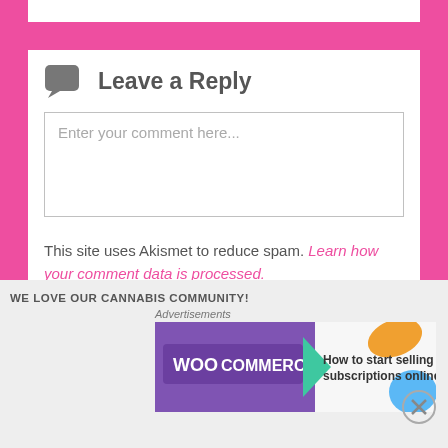Leave a Reply
Enter your comment here...
This site uses Akismet to reduce spam. Learn how your comment data is processed.
WE LOVE OUR CANNABIS COMMUNITY!
Advertisements
[Figure (other): WooCommerce advertisement banner: 'How to start selling subscriptions online']